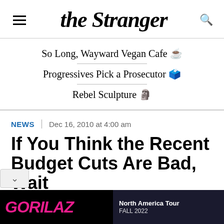the Stranger
So Long, Wayward Vegan Cafe ☕
Progressives Pick a Prosecutor 🗳️
Rebel Sculpture 🗿
NEWS | Dec 16, 2010 at 4:00 am
If You Think the Recent Budget Cuts Are Bad, Wait
[Figure (advertisement): Gorillaz North America Tour Fall 2022 advertisement banner]